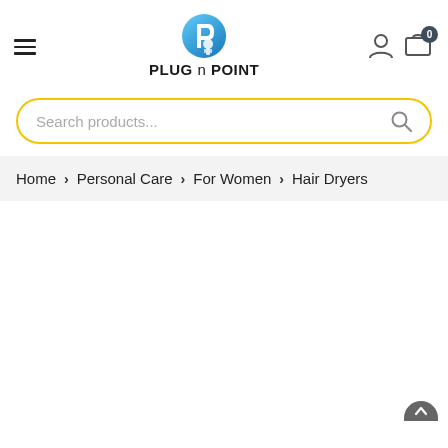PLUG n POINT — navigation header with hamburger menu, logo, user icon, and cart (0)
Search products...
Home › Personal Care › For Women › Hair Dryers